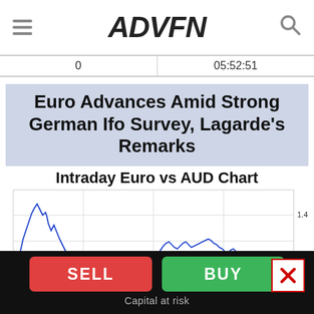ADVFN
| 0 | 05:52:51 |
Euro Advances Amid Strong German Ifo Survey, Lagarde's Remarks
Intraday Euro vs AUD Chart
[Figure (continuous-plot): Intraday line chart of Euro vs AUD exchange rate, with a blue price line oscillating around a horizontal red reference line. Y-axis labels show 1.455 and 1.45.]
SELL   BUY   Capital at risk